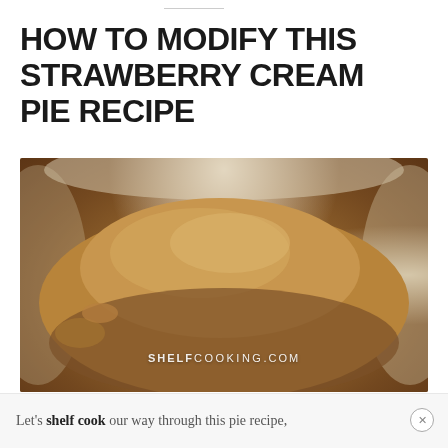HOW TO MODIFY THIS STRAWBERRY CREAM PIE RECIPE
[Figure (photo): Close-up photograph of graham cracker crumbs in a white bowl, with watermark text reading SHELFCOOKING.COM]
Let's shelf cook our way through this pie recipe,